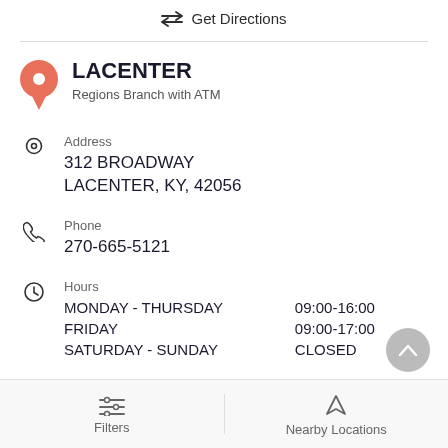Get Directions
LACENTER
Regions Branch with ATM
Address
312 BROADWAY
LACENTER, KY, 42056
Phone
270-665-5121
Hours
MONDAY - THURSDAY   09:00-16:00
FRIDAY   09:00-17:00
SATURDAY - SUNDAY   CLOSED
Filters   Nearby Locations